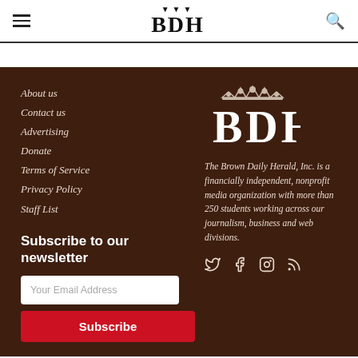BDH
About us
Contact us
Advertising
Donate
Terms of Service
Privacy Policy
Staff List
Subscribe to our newsletter
[Figure (logo): BDH crown logo large white on dark brown background]
The Brown Daily Herald, Inc. is a financially independent, nonprofit media organization with more than 250 students working across our journalism, business and web divisions.
[Figure (infographic): Social media icons: Twitter, Facebook, Instagram, RSS]
Powered by Works Solutions by The State News